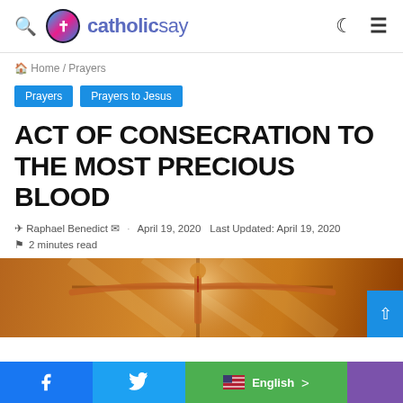catholicsay
Home / Prayers
Prayers
Prayers to Jesus
ACT OF CONSECRATION TO THE MOST PRECIOUS BLOOD
Raphael Benedict · April 19, 2020  Last Updated: April 19, 2020
2 minutes read
[Figure (photo): Painting of Jesus Christ crucified on the cross, dramatic golden-brown tones]
Facebook   Twitter   English >